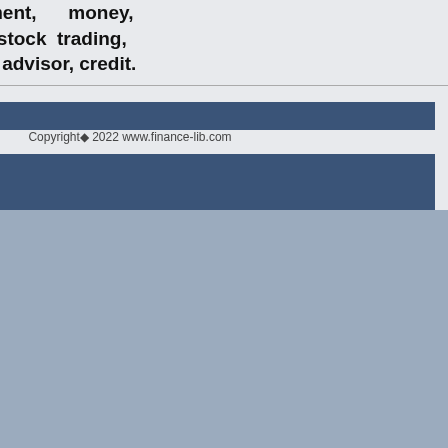inventory, investment, money, inventory control, stock trading, financial advisor, tax advisor, credit.
Copyright© 2022 www.finance-lib.com